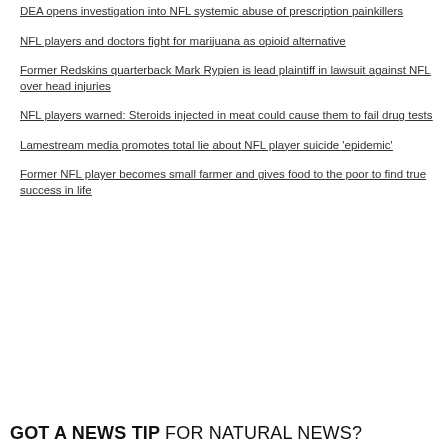DEA opens investigation into NFL systemic abuse of prescription painkillers
NFL players and doctors fight for marijuana as opioid alternative
Former Redskins quarterback Mark Rypien is lead plaintiff in lawsuit against NFL over head injuries
NFL players warned: Steroids injected in meat could cause them to fail drug tests
Lamestream media promotes total lie about NFL player suicide 'epidemic'
Former NFL player becomes small farmer and gives food to the poor to find true success in life
GOT A NEWS TIP FOR NATURAL NEWS?